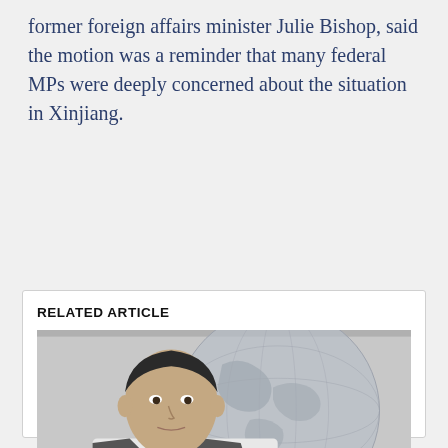former foreign affairs minister Julie Bishop, said the motion was a reminder that many federal MPs were deeply concerned about the situation in Xinjiang.
RELATED ARTICLE
[Figure (photo): Black and white photo of a man in a suit and tie holding or positioned next to a globe/world map]
Explainer  World politics
What are Magnitsky sanctions and why does Russia oppose them?